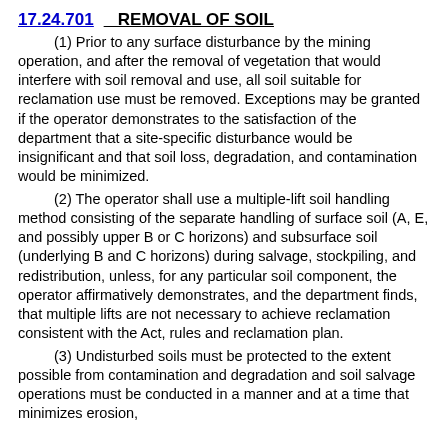17.24.701    REMOVAL OF SOIL
(1) Prior to any surface disturbance by the mining operation, and after the removal of vegetation that would interfere with soil removal and use, all soil suitable for reclamation use must be removed. Exceptions may be granted if the operator demonstrates to the satisfaction of the department that a site-specific disturbance would be insignificant and that soil loss, degradation, and contamination would be minimized.
(2) The operator shall use a multiple-lift soil handling method consisting of the separate handling of surface soil (A, E, and possibly upper B or C horizons) and subsurface soil (underlying B and C horizons) during salvage, stockpiling, and redistribution, unless, for any particular soil component, the operator affirmatively demonstrates, and the department finds, that multiple lifts are not necessary to achieve reclamation consistent with the Act, rules and reclamation plan.
(3) Undisturbed soils must be protected to the extent possible from contamination and degradation and soil salvage operations must be conducted in a manner and at a time that minimizes erosion,